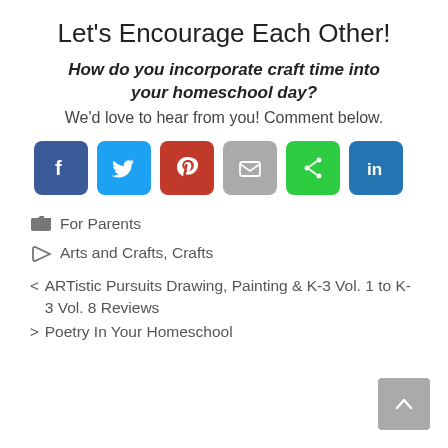Let’s Encourage Each Other!
How do you incorporate craft time into your homeschool day?
We’d love to hear from you! Comment below.
[Figure (infographic): Social share buttons: Facebook (blue), Twitter (light blue), Pinterest (red), Email (gray), Share (green), LinkedIn (blue)]
📁 For Parents
🏷 Arts and Crafts, Crafts
< ARTistic Pursuits Drawing, Painting & K-3 Vol. 1 to K-3 Vol. 8 Reviews
> Poetry In Your Homeschool